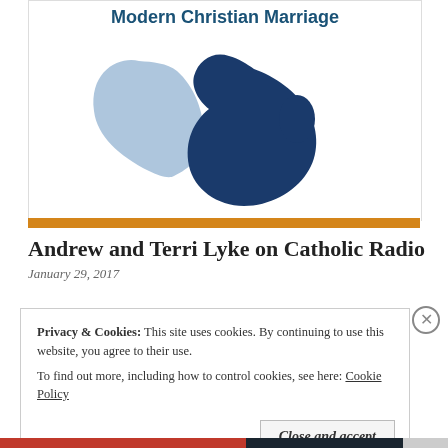[Figure (logo): Modern Christian Marriage logo with two abstract heart/figure shapes in light blue and dark navy blue, with text 'Modern Christian Marriage' at top]
Andrew and Terri Lyke on Catholic Radio
January 29, 2017
Privacy & Cookies: This site uses cookies. By continuing to use this website, you agree to their use. To find out more, including how to control cookies, see here: Cookie Policy
Close and accept